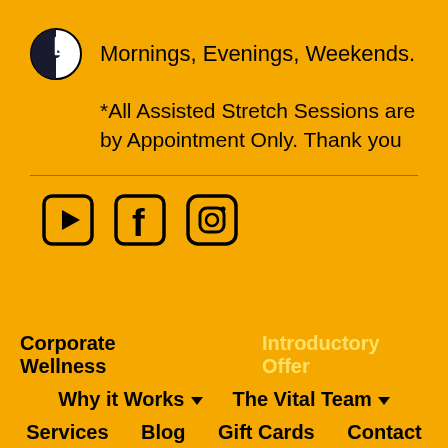Mornings, Evenings, Weekends.
*All Assisted Stretch Sessions are by Appointment Only. Thank you
[Figure (other): Social media icons: YouTube, Facebook, Instagram]
Corporate Wellness
Introductory Offer
Why it Works ▾
The Vital Team ▾
Services
Blog
Gift Cards
Contact